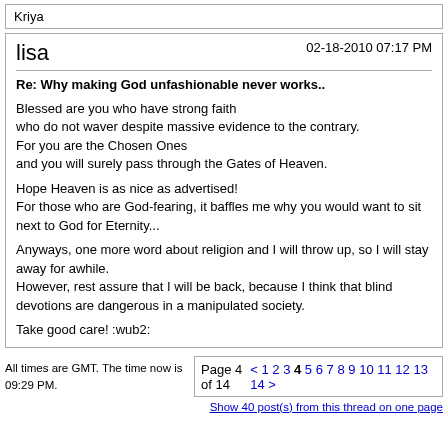Kriya
lisa  02-18-2010 07:17 PM
Re: Why making God unfashionable never works..
Blessed are you who have strong faith
who do not waver despite massive evidence to the contrary.
For you are the Chosen Ones
and you will surely pass through the Gates of Heaven.

Hope Heaven is as nice as advertised!
For those who are God-fearing, it baffles me why you would want to sit next to God for Eternity...

Anyways, one more word about religion and I will throw up, so I will stay away for awhile.
However, rest assure that I will be back, because I think that blind devotions are dangerous in a manipulated society.

Take good care! :wub2:
All times are GMT. The time now is 09:29 PM.  Page 4 of 14  < 1 2 3 4 5 6 7 8 9 10 11 12 13 14 >
Show 40 post(s) from this thread on one page